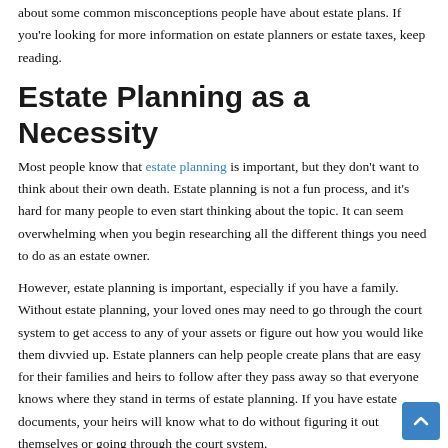about some common misconceptions people have about estate plans. If you're looking for more information on estate planners or estate taxes, keep reading.
Estate Planning as a Necessity
Most people know that estate planning is important, but they don't want to think about their own death. Estate planning is not a fun process, and it's hard for many people to even start thinking about the topic. It can seem overwhelming when you begin researching all the different things you need to do as an estate owner.
However, estate planning is important, especially if you have a family. Without estate planning, your loved ones may need to go through the court system to get access to any of your assets or figure out how you would like them divvied up. Estate planners can help people create plans that are easy for their families and heirs to follow after they pass away so that everyone knows where they stand in terms of estate planning. If you have estate documents, your heirs will know what to do without figuring it out themselves or going through the court system.